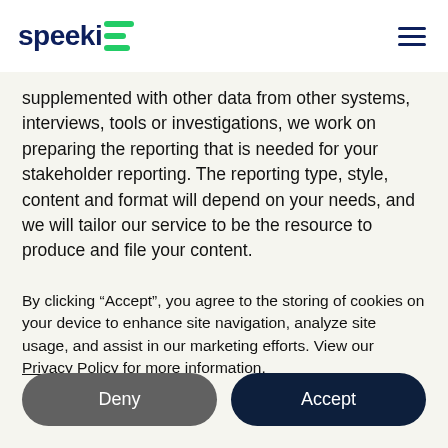speeki [logo]
supplemented with other data from other systems, interviews, tools or investigations, we work on preparing the reporting that is needed for your stakeholder reporting. The reporting type, style, content and format will depend on your needs, and we will tailor our service to be the resource to produce and file your content.
By clicking “Accept”, you agree to the storing of cookies on your device to enhance site navigation, analyze site usage, and assist in our marketing efforts. View our Privacy Policy for more information.
Deny
Accept